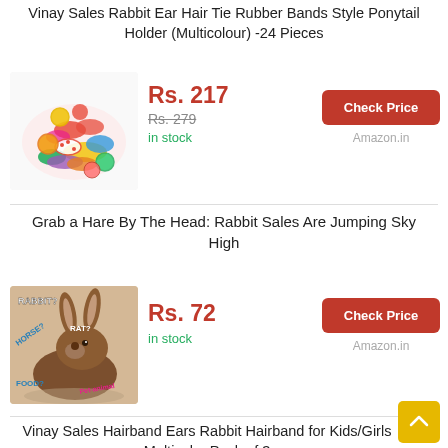Vinay Sales Rabbit Ear Hair Tie Rubber Bands Style Ponytail Holder (Multicolour) -24 Pieces
[Figure (photo): Colorful rabbit ear hair ties and rubber bands in a pile]
Rs. 217
Rs. 279 (strikethrough)
in stock
Check Price
Amazon.in
Grab a Hare By The Head: Rabbit Sales Are Jumping Sky High
[Figure (photo): Brown rabbit sitting with text 'RABBIT? RAT? HOW? FOOD?' overlaid]
Rs. 72
in stock
Check Price
Amazon.in
Vinay Sales Hairband Ears Rabbit Hairband for Kids/Girls Multicolor Pack of 3